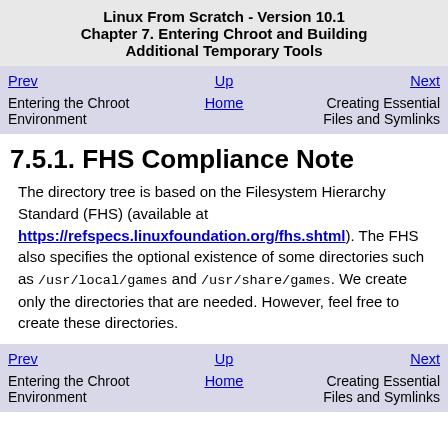Linux From Scratch - Version 10.1
Chapter 7. Entering Chroot and Building Additional Temporary Tools
| Prev | Up | Next |
| --- | --- | --- |
| Entering the Chroot Environment | Home | Creating Essential Files and Symlinks |
7.5.1. FHS Compliance Note
The directory tree is based on the Filesystem Hierarchy Standard (FHS) (available at https://refspecs.linuxfoundation.org/fhs.shtml). The FHS also specifies the optional existence of some directories such as /usr/local/games and /usr/share/games. We create only the directories that are needed. However, feel free to create these directories.
| Prev | Up | Next |
| --- | --- | --- |
| Entering the Chroot Environment | Home | Creating Essential Files and Symlinks |